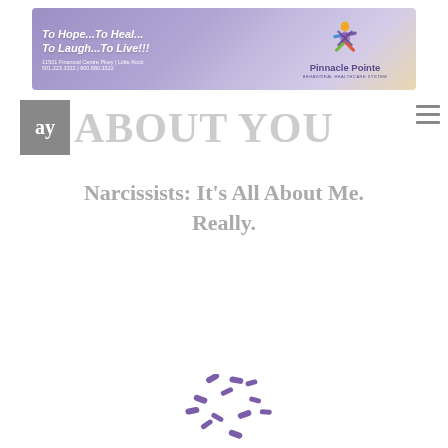[Figure (illustration): Pinnacle Pointe Behavioral Healthcare System banner advertisement with purple gradient background. Left side shows italic white text 'To Hope...To Heal... To Laugh...To Live!!!' with address '11501 Financial Centre Pkwy | Little Rock' and phone '501.223.3322 | 800.880.3322'. Right side shows the Pinnacle Pointe logo with colorful figure icon and text 'Pinnacle Pointe BEHAVIORAL HEALTHCARE SYSTEM'.]
[Figure (logo): AY About You magazine logo. Grey square with 'ay' in white serif text, followed by 'ABOUT YOU' in large light grey serif letters. Hamburger menu icon (three horizontal lines) on the far right.]
Narcissists: It's All About Me. Really.